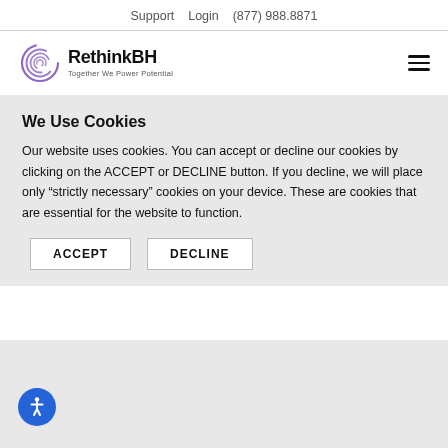Support   Login   (877) 988.8871
[Figure (logo): RethinkBH logo with purple spiral graphic and tagline 'Together We Power Potential']
We Use Cookies
Our website uses cookies. You can accept or decline our cookies by clicking on the ACCEPT or DECLINE button. If you decline, we will place only “strictly necessary” cookies on your device. These are cookies that are essential for the website to function.
ACCEPT   DECLINE